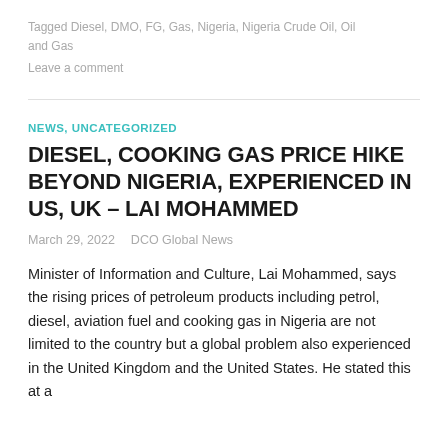Tagged Diesel, DMO, FG, Gas, Nigeria, Nigeria Crude Oil, Oil and Gas
Leave a comment
NEWS, UNCATEGORIZED
DIESEL, COOKING GAS PRICE HIKE BEYOND NIGERIA, EXPERIENCED IN US, UK – LAI MOHAMMED
March 29, 2022   DCO Global News
Minister of Information and Culture, Lai Mohammed, says the rising prices of petroleum products including petrol, diesel, aviation fuel and cooking gas in Nigeria are not limited to the country but a global problem also experienced in the United Kingdom and the United States. He stated this at a